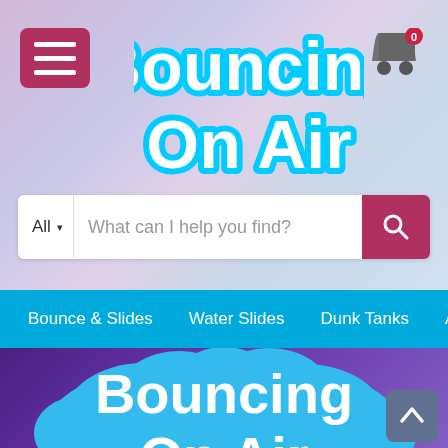[Figure (screenshot): Bouncing On Air website screenshot showing header with logo, search bar, navigation menu, and hero section with large logo on purple background]
Bouncing On Air
What can I help you find?
Bounce & Slides   Water Slides   Dunk Tanks   About